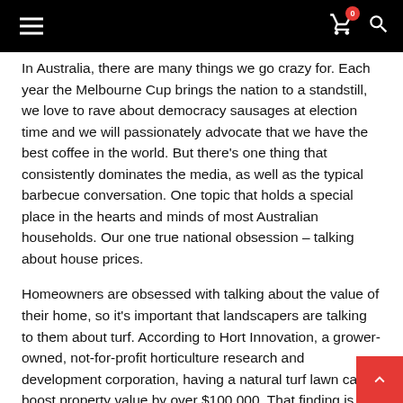navigation header with hamburger menu, cart icon with badge 0, and search icon
In Australia, there are many things we go crazy for. Each year the Melbourne Cup brings the nation to a standstill, we love to rave about democracy sausages at election time and we will passionately advocate that we have the best coffee in the world. But there's one thing that consistently dominates the media, as well as the typical barbecue conversation. One topic that holds a special place in the hearts and minds of most Australian households. Our one true national obsession – talking about house prices.
Homeowners are obsessed with talking about the value of their home, so it's important that landscapers are talking to them about turf. According to Hort Innovation, a grower-owned, not-for-profit horticulture research and development corporation, having a natural turf lawn can boost property value by over $100,000. That finding is based on a survey of